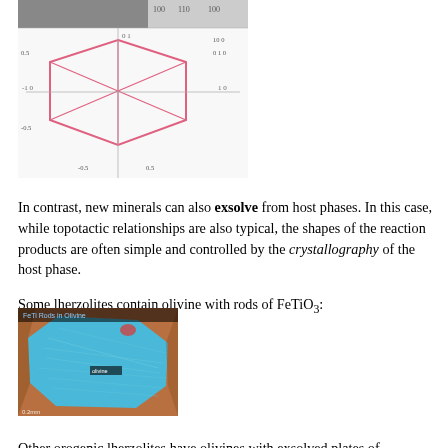[Figure (schematic): Hexagonal crystal diagram with labeled axes and overlay lines, showing crystallographic structure with pink/purple hexagon outline on a white grid background.]
In contrast, new minerals can also exsolve from host phases. In this case, while topotactic relationships are also typical, the shapes of the reaction products are often simple and controlled by the crystallography of the host phase.
Some lherzolites contain olivine with rods of FeTiO3:
[Figure (photo): Microscope image labeled 'FeTi Rods in Olivine' showing a blue olivine crystal with fine rods of FeTiO3 visible inside, surrounded by brown matrix.]
Other orogenic lherzolites have olivines with exsolved plates of magnetite:
[Figure (photo): Microscope image showing yellow/orange olivine with dark green/black plates of exsolved magnetite forming a grid-like pattern.]